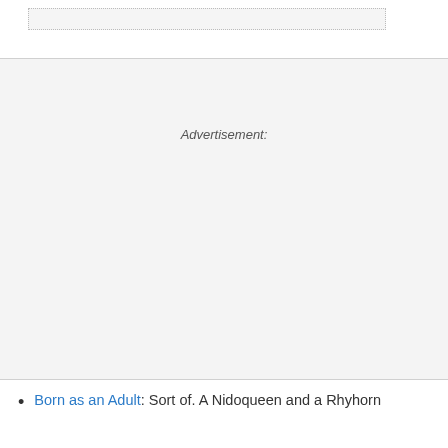[Figure (other): Search bar input field with dotted border]
Advertisement:
Born as an Adult: Sort of. A Nidoqueen and a Rhyhorn